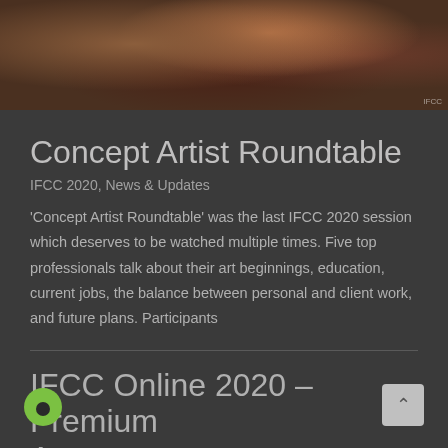[Figure (photo): Dark fantasy creature/character concept art image used as article header]
Concept Artist Roundtable
IFCC 2020, News & Updates
'Concept Artist Roundtable' was the last IFCC 2020 session which deserves to be watched multiple times. Five top professionals talk about their art beginnings, education, current jobs, the balance between personal and client work, and future plans. Participants
IFCC Online 2020 – Premium Access